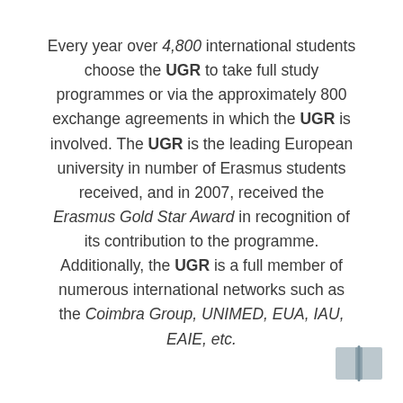Every year over 4,800 international students choose the UGR to take full study programmes or via the approximately 800 exchange agreements in which the UGR is involved. The UGR is the leading European university in number of Erasmus students received, and in 2007, received the Erasmus Gold Star Award in recognition of its contribution to the programme. Additionally, the UGR is a full member of numerous international networks such as the Coimbra Group, UNIMED, EUA, IAU, EAIE, etc.
[Figure (illustration): Small blue book icon in the bottom-right corner]